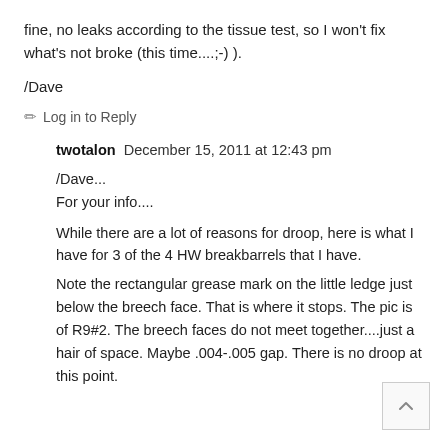fine, no leaks according to the tissue test, so I won't fix what's not broke (this time....;-) ).
/Dave
✏ Log in to Reply
twotalon  December 15, 2011 at 12:43 pm
/Dave...
For your info....
While there are a lot of reasons for droop, here is what I have for 3 of the 4 HW breakbarrels that I have.
Note the rectangular grease mark on the little ledge just below the breech face. That is where it stops. The pic is of R9#2. The breech faces do not meet together....just a hair of space. Maybe .004-.005 gap. There is no droop at this point.